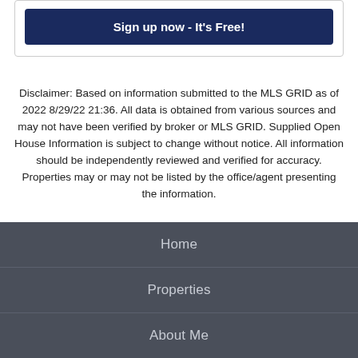[Figure (other): Sign up now - It's Free! button inside a bordered container]
Disclaimer: Based on information submitted to the MLS GRID as of 2022 8/29/22 21:36. All data is obtained from various sources and may not have been verified by broker or MLS GRID. Supplied Open House Information is subject to change without notice. All information should be independently reviewed and verified for accuracy. Properties may or may not be listed by the office/agent presenting the information.
Home
Properties
About Me